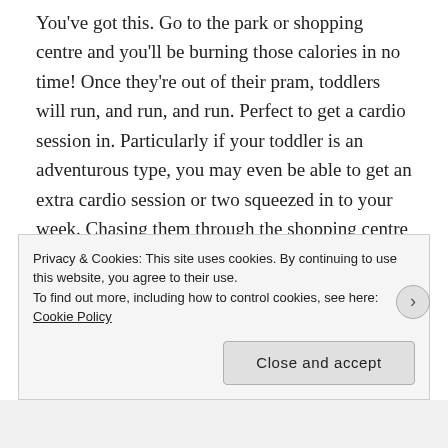You've got this. Go to the park or shopping centre and you'll be burning those calories in no time! Once they're out of their pram, toddlers will run, and run, and run. Perfect to get a cardio session in. Particularly if your toddler is an adventurous type, you may even be able to get an extra cardio session or two squeezed in to your week. Chasing them through the shopping centre when they try to escape from the play areas, or running after them when they decide the sandpit at the park is no longer of interest, cardio is an easy exercise to fit in to your lifestyle.
Privacy & Cookies: This site uses cookies. By continuing to use this website, you agree to their use. To find out more, including how to control cookies, see here: Cookie Policy
Close and accept